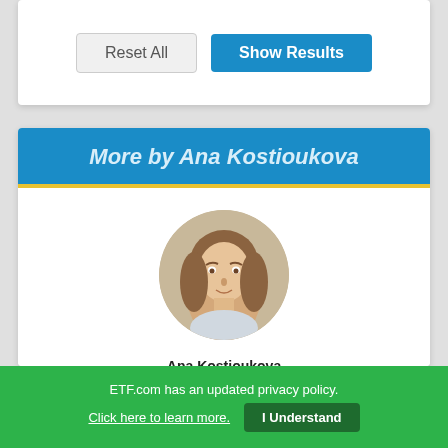[Figure (screenshot): Top portion of a web filter card showing Reset All and Show Results buttons]
More by Ana Kostioukova
[Figure (photo): Circular profile photo of Ana Kostioukova, a woman with light brown hair]
Ana Kostioukova
The World's Most Misleading ETF Names
The World's Least ETF Filing Notes (partial, cut off)
ETF.com has an updated privacy policy.
Click here to learn more.  I Understand